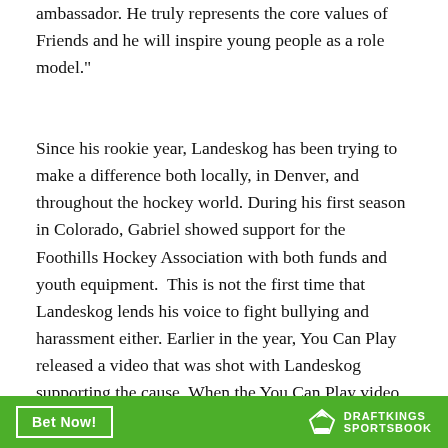ambassador. He truly represents the core values of Friends and he will inspire young people as a role model."
Since his rookie year, Landeskog has been trying to make a difference both locally, in Denver, and throughout the hockey world. During his first season in Colorado, Gabriel showed support for the Foothills Hockey Association with both funds and youth equipment.  This is not the first time that Landeskog lends his voice to fight bullying and harassment either. Earlier in the year, You Can Play released a video that was shot with Landeskog supporting the cause. When the You Can Play video was released, he was the first professional athlete in North America to join forces with high school athletes for the You Can Play project.
[Figure (other): DraftKings Sportsbook green banner advertisement with 'Bet Now!' button and DraftKings logo]